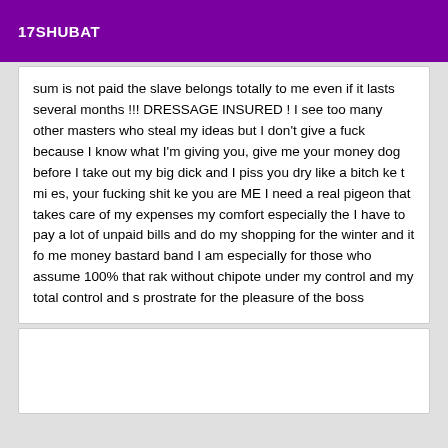17SHUBAT
sum is not paid the slave belongs totally to me even if it lasts several months !!! DRESSAGE INSURED ! I see too many other masters who steal my ideas but I don't give a fuck because I know what I'm giving you, give me your money dog before I take out my big dick and I piss you dry like a bitch ke t mi es, your fucking shit ke you are ME I need a real pigeon that takes care of my expenses my comfort especially the I have to pay a lot of unpaid bills and do my shopping for the winter and it fo me money bastard band I am especially for those who assume 100% that rak without chipote under my control and my total control and s prostrate for the pleasure of the boss